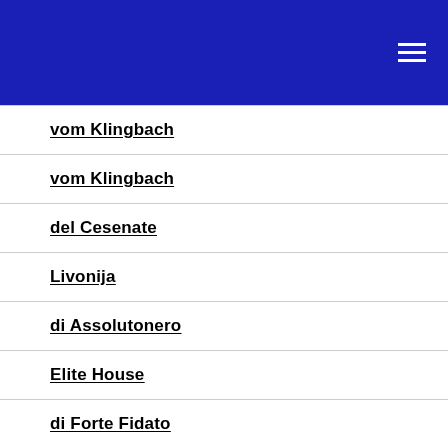vom Klingbach
vom Klingbach
del Cesenate
Livonija
di Assolutonero
Elite House
di Forte Fidato
vom Strengbach
iz Goroda 312
di Vinter